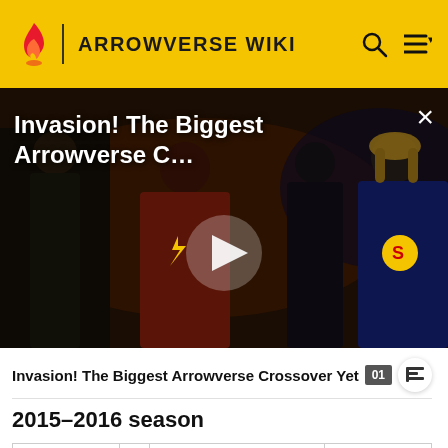ARROWVERSE WIKI
[Figure (screenshot): Video thumbnail showing Arrowverse characters including The Flash and Supergirl, with a play button overlay and title 'Invasion! The Biggest Arrowverse C...' and a close (X) button]
Invasion! The Biggest Arrowverse Crossover Yet
2015–2016 season
| Episode | # | Episode name | Show(s) |
| --- | --- | --- | --- |